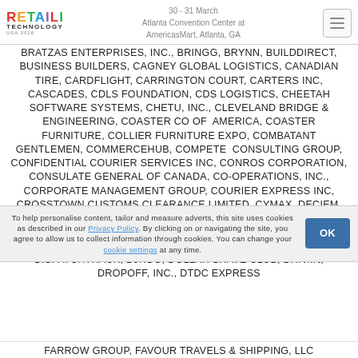RETAILI TECHNOLOGY USA 2016 | 30 - 31 March | Atlanta Convention Center at AmericasMart, Atlanta, GA
BRATZAS ENTERPRISES, INC., BRINGG, BRYNN, BUILDDIRECT, BUSINESS BUILDERS, CAGNEY GLOBAL LOGISTICS, CANADIAN TIRE, CARDFLIGHT, CARRINGTON COURT, CARTERS INC, CASCADES, CDLS FOUNDATION, CDS LOGISTICS, CHEETAH SOFTWARE SYSTEMS, CHETU, INC., CLEVELAND BRIDGE & ENGINEERING, COASTER CO OF AMERICA, COASTER FURNITURE, COLLIER FURNITURE EXPO, COMBATANT GENTLEMEN, COMMERCEHUB, COMPETE CONSULTING GROUP, CONFIDENTIAL COURIER SERVICES INC, CONROS CORPORATION, CONSULATE GENERAL OF CANADA, CO-OPERATIONS, INC., CORPORATE MANAGEMENT GROUP, COURIER EXPRESS INC, CROSSTOWN CUSTOMS CLEARANCE LIMITED, CYMAX, DECIEM, DELIVERYCIRCLE, DELUXE DELIVERY SYSTEMS, DESCARTES SYSTEMS GROUP, DEST LOGISTICS LTD, DHL ECOMMERCE, DICOM TRANSPORTATION GROUP, DILLARDS INC, DISPATCHTRACK, DJKGO, DOLLAR SHAVE CLUB, DRIV.IN, DROPOFF, INC., DTDC EXPRESS
To help personalise content, tailor and measure adverts, this site uses cookies as described in our Privacy Policy. By clicking on or navigating the site, you agree to allow us to collect information through cookies. You can change your cookie settings at any time.
FARROW GROUP, FAVOUR TRAVELS & SHIPPING, LLC